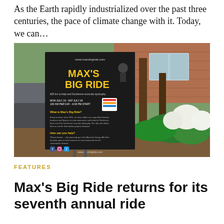As the Earth rapidly industrialized over the past three centuries, the pace of climate change with it. Today, we can…
[Figure (photo): Outdoor sign for Max's Big Ride charity cycling event, with text about riding 600 km to help end Duchenne muscular dystrophy, placed in a garden setting with a brick building in the background and lush green plants and white hydrangeas.]
FEATURES
Max's Big Ride returns for its seventh annual ride